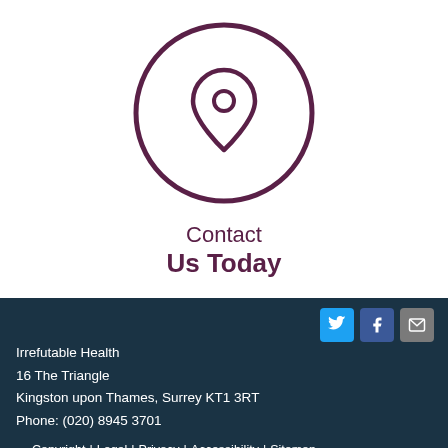[Figure (illustration): A location pin icon inside a large circle, drawn in dark purple/maroon color on white background]
Contact
Us Today
Irrefutable Health
16 The Triangle
Kingston upon Thames, Surrey KT1 3RT
Phone: (020) 8945 3701
Copyright | Legal | Privacy | Accessibility | Sitemap
Chiropractic Websites by Perfect Patients